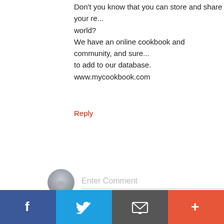Don't you know that you can store and share your re... world?
We have an online cookbook and community, and sure... to add to our database.
www.mycookbook.com
Reply
[Figure (screenshot): Enter Comment input field with avatar icon on left]
Newer Post · · · · · · · · · · · Home
[Figure (infographic): Social share bar with Facebook, Twitter, email/envelope, and plus buttons]